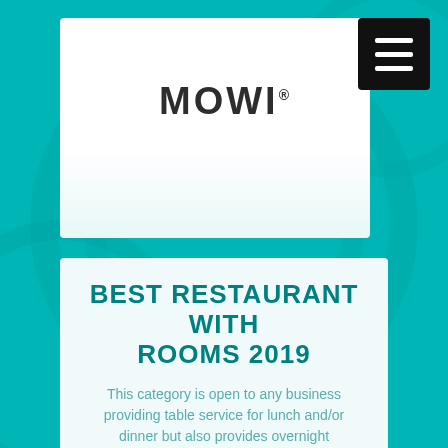[Figure (logo): MOWI brand logo in dark bold sans-serif font with registered trademark symbol]
BEST RESTAURANT WITH ROOMS 2019
This category is open to any business providing table service for lunch and/or dinner but also provides overnight accommodation for guests.